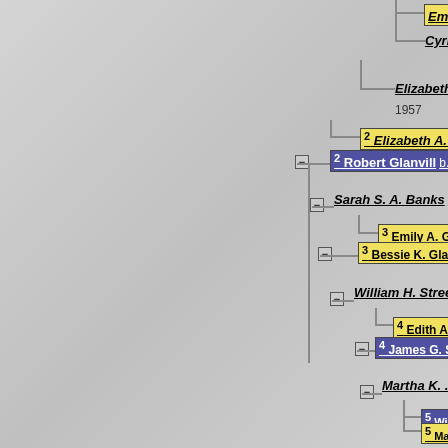[Figure (organizational-chart): Genealogical family tree showing descendants of the Glanvill family. Entries include Emily M. St..., Cyril Nobl..., Elizabeth M. Pe... (1957), Elizabeth A. Glanvill (gen 2), Robert Glanvill b. 16 Apr 1... (gen 2), Sarah S. A. Banks b. b... Emily A. Glanvill (gen 3), Bessie K. Glanvill... (gen 3), William H. Stree..., Edith A. Str... (gen 4), James G. S... (gen 4), Martha K. ..., William... (gen 5), Mary... (gen 5), Robert H. Glanvill... (gen 3), Clara Warrington..., Margaret J.... (gen 4), George F.... d. c Aug 1953, Laure... (gen 5), Ros..., Mary... (gen 5). Yellow boxes indicate female members, purple boxes indicate male members.]